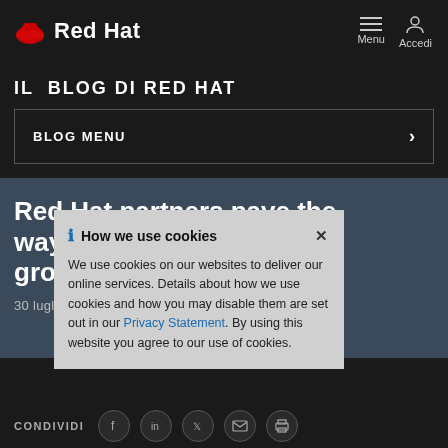Red Hat — Menu / Accedi
IL BLOG DI RED HAT
BLOG MENU
Red Hat partners pave the way for future success & growth
30 luglio 2020  |  Ernest Jones
[Figure (screenshot): Cookie consent overlay: 'How we use cookies' — We use cookies on our websites to deliver our online services. Details about how we use cookies and how you may disable them are set out in our Privacy Statement. By using this website you agree to our use of cookies.]
CONDIVIDI — Facebook, LinkedIn, Twitter, Email, Print icons